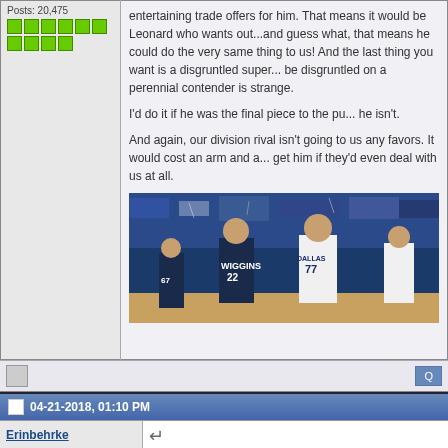Posts: 20,475
entertaining trade offers for him. That means it would be Leonard who wants out...and guess what, that means he could do the very same thing to us! And the last thing you want is a disgruntled superstar. And to be disgruntled on a perennial contender is just strange.
I'd do it if he was the final piece to the puzzle, but he isn't.
And again, our division rival isn't going to do us any favors. It would cost an arm and a leg to get him if they'd even deal with us at all.
[Figure (photo): Basketball game photo showing Dallas Mavericks player #77 (Luka Doncic) celebrating near Minnesota Timberwolves player #22 (Andrew Wiggins) and #67, with a crowded arena in the background]
04-21-2018, 01:10 PM